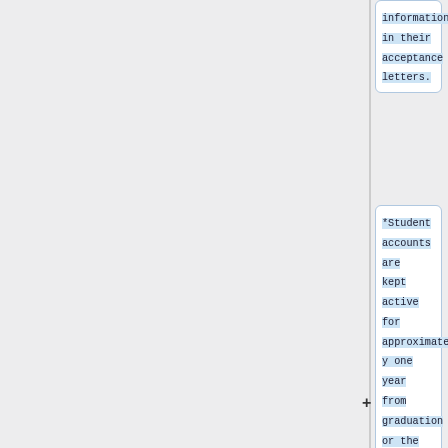information in their acceptance letters.
*Student accounts are kept active for approximately one year from graduation or the last semester of attendance. Accounts for accepted prospective students who elected not to attend